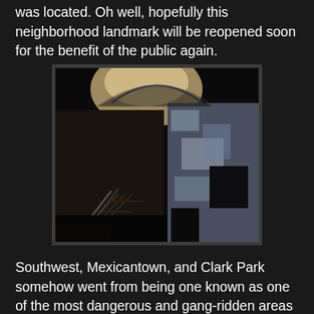was located. Oh well, hopefully this neighborhood landmark will be reopened soon for the benefit of the public again.
[Figure (photo): Dark interior photograph of an abandoned building stairwell, showing deteriorating walls with peeling paint/plaster on the right side and a staircase with metal railing on the left ascending toward a bright opening at the top.]
Southwest, Mexicantown, and Clark Park somehow went from being one known as one of the most dangerous and gang-ridden areas of Detroit, to become one of the most often cited examples of neighborhood pride and how an enclave can stand strong against economic recession and encroaching blight from all sides. It somehow survived mostly intact while the rest of Detroit crumbled around it. I see no reason why this building shouldn't be reopened in the